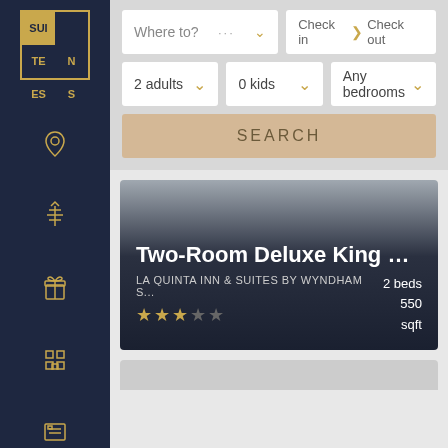[Figure (screenshot): Suiteness hotel booking app sidebar with logo and navigation icons]
Where to?
Check in > Check out
2 adults
0 kids
Any bedrooms
SEARCH
Two-Room Deluxe King Suite - Non-...
LA QUINTA INN & SUITES BY WYNDHAM S...   2 beds   550 sqft